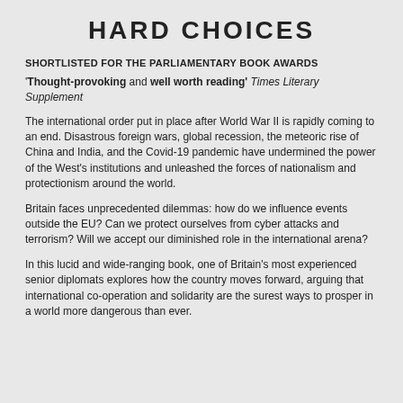HARD CHOICES
SHORTLISTED FOR THE PARLIAMENTARY BOOK AWARDS
'Thought-provoking and well worth reading' Times Literary Supplement
The international order put in place after World War II is rapidly coming to an end. Disastrous foreign wars, global recession, the meteoric rise of China and India, and the Covid-19 pandemic have undermined the power of the West's institutions and unleashed the forces of nationalism and protectionism around the world.
Britain faces unprecedented dilemmas: how do we influence events outside the EU? Can we protect ourselves from cyber attacks and terrorism? Will we accept our diminished role in the international arena?
In this lucid and wide-ranging book, one of Britain's most experienced senior diplomats explores how the country moves forward, arguing that international co-operation and solidarity are the surest ways to prosper in a world more dangerous than ever.